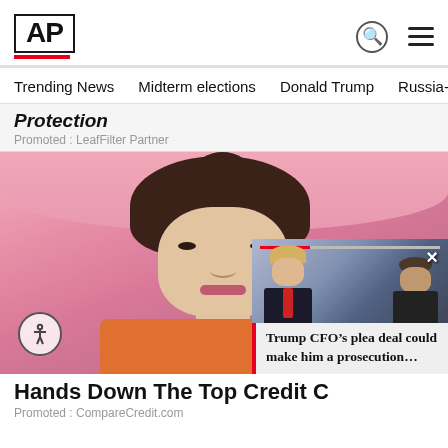[Figure (logo): AP (Associated Press) logo in bold black letters with red underline bar]
Trending News   Midterm elections   Donald Trump   Russia-Ukr
Protection
Promoted : LeafFilter Partner
[Figure (photo): Young woman with brunette hair in updo and bangs, smiling, holding a yellow/tan card, pink background. Accessibility icon overlay in bottom left.]
[Figure (photo): Popup video thumbnail showing two men in suits, one with blond hair and red tie (Trump), with red progress bar and X close button]
Trump CFO’s plea deal could make him a prosecution…
Hands Down The Top Credit C
Promoted : CompareCredit.com